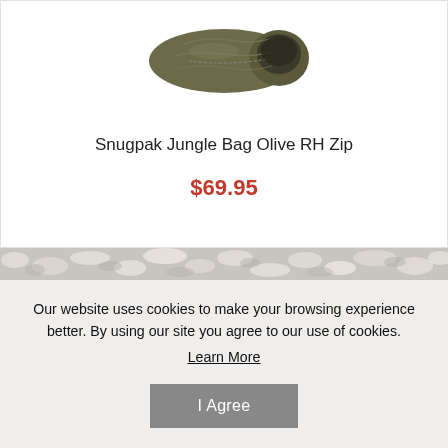[Figure (photo): Sleeping bag product image - Snugpak Jungle Bag Olive RH Zip, olive/dark colored sleeping bag shown partially compressed]
Snugpak Jungle Bag Olive RH Zip
$69.95
[Figure (illustration): Decorative textured divider band with camouflage-like grey and white mottled pattern]
Our website uses cookies to make your browsing experience better. By using our site you agree to our use of cookies.
Learn More
I Agree